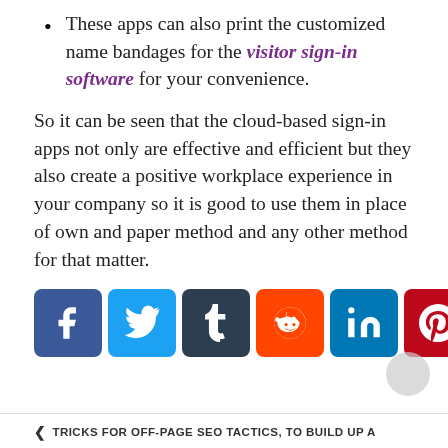These apps can also print the customized name bandages for the visitor sign-in software for your convenience.
So it can be seen that the cloud-based sign-in apps not only are effective and efficient but they also create a positive workplace experience in your company so it is good to use them in place of own and paper method and any other method for that matter.
[Figure (infographic): Social media sharing buttons: Facebook, Twitter, Tumblr, Reddit, LinkedIn, Pinterest, WhatsApp, Email, Share]
< TRICKS FOR OFF-PAGE SEO TACTICS, TO BUILD UP A